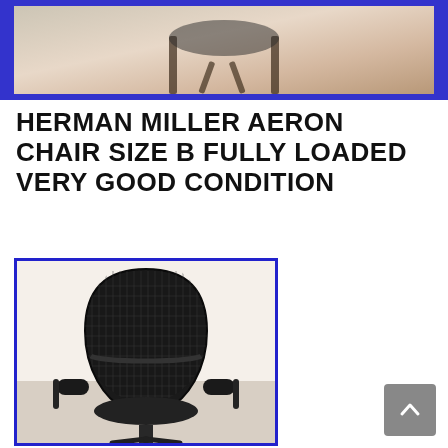[Figure (photo): Top banner image showing partial view of a chair against a colorful background with blue border]
HERMAN MILLER AERON CHAIR SIZE B FULLY LOADED VERY GOOD CONDITION
Posted on November 22, 2021
[Figure (photo): Photo of a Herman Miller Aeron chair Size B, black mesh, viewed from behind/front, with blue border frame]